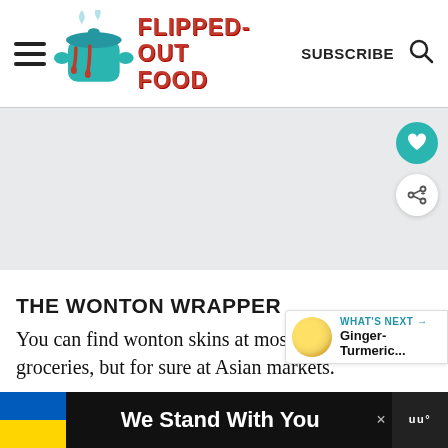FLIPPED-OUT FOOD  SUBSCRIBE
[Figure (photo): Gray/white advertisement banner area placeholder]
THE WONTON WRAPPER
You can find wonton skins at most well-stocked groceries, but for sure at Asian markets.
[Figure (infographic): Bottom banner ad: Ukraine flag colors with text 'We Stand With You' and close button]
[Figure (infographic): What's Next overlay with orange/yellow ball and text: Ginger-Turmeric...]